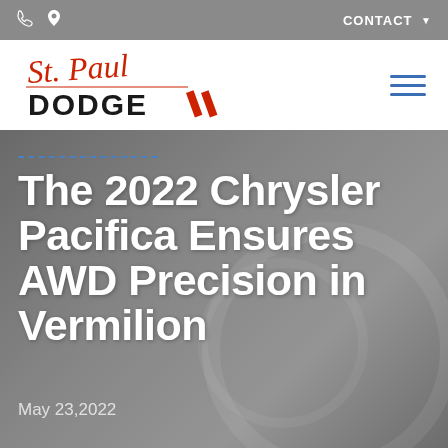CONTACT
[Figure (logo): St. Paul Dodge dealership logo with script 'St. Paul' in red and 'DODGE' in bold black with red diagonal stripes]
The 2022 Chrysler Pacifica Ensures AWD Precision in Vermilion
May 23,2022